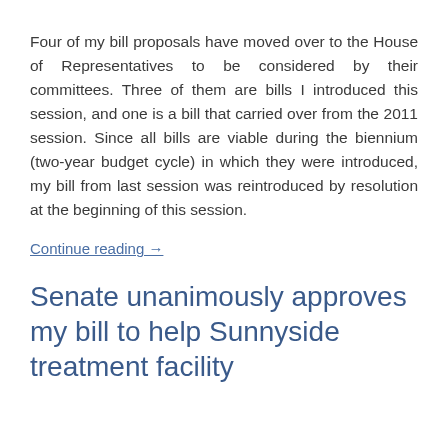Four of my bill proposals have moved over to the House of Representatives to be considered by their committees. Three of them are bills I introduced this session, and one is a bill that carried over from the 2011 session. Since all bills are viable during the biennium (two-year budget cycle) in which they were introduced, my bill from last session was reintroduced by resolution at the beginning of this session.
Continue reading →
Senate unanimously approves my bill to help Sunnyside treatment facility